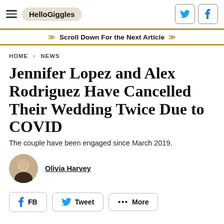HelloGiggles
Scroll Down For the Next Article
HOME > NEWS
Jennifer Lopez and Alex Rodriguez Have Cancelled Their Wedding Twice Due to COVID
The couple have been engaged since March 2019.
Olivia Harvey
FB  Tweet  ••• More